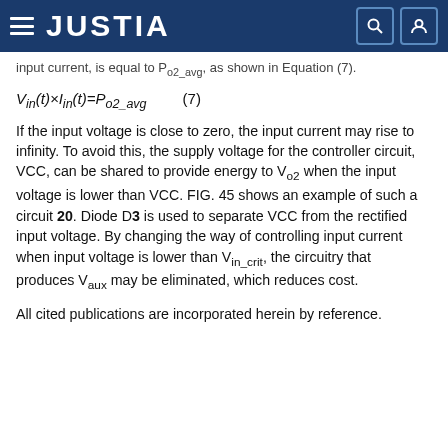JUSTIA
input current, is equal to P_o2_avg, as shown in Equation (7).
If the input voltage is close to zero, the input current may rise to infinity. To avoid this, the supply voltage for the controller circuit, VCC, can be shared to provide energy to V_o2 when the input voltage is lower than VCC. FIG. 45 shows an example of such a circuit 20. Diode D3 is used to separate VCC from the rectified input voltage. By changing the way of controlling input current when input voltage is lower than V_in_crit, the circuitry that produces V_aux may be eliminated, which reduces cost.
All cited publications are incorporated herein by reference.